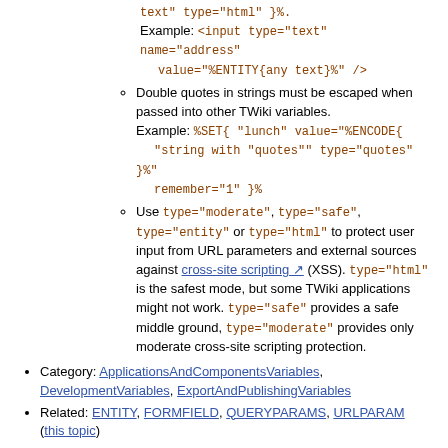text" type="html" }%.
Example: <input type="text" name="address" value="%ENTITY{any text}%" />
Double quotes in strings must be escaped when passed into other TWiki variables. Example: %SET{ "lunch" value="%ENCODE{ "string with "quotes"" type="quotes" }%" remember="1" }%
Use type="moderate", type="safe", type="entity" or type="html" to protect user input from URL parameters and external sources against cross-site scripting (XSS). type="html" is the safest mode, but some TWiki applications might not work. type="safe" provides a safe middle ground, type="moderate" provides only moderate cross-site scripting protection.
Category: ApplicationsAndComponentsVariables, DevelopmentVariables, ExportAndPublishingVariables
Related: ENTITY, FORMFIELD, QUERYPARAMS, URLPARAM (this topic)
ENDSECTION{"name"} -- marks the end of